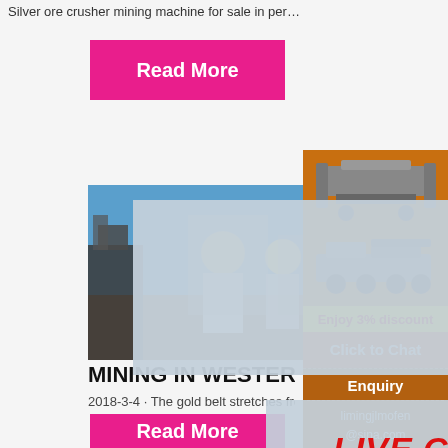Silver ore crusher mining machine for sale in per…
Read More
[Figure (photo): Construction workers in yellow hard hats at a mine site, with excavator in background]
[Figure (screenshot): Live Chat overlay popup with 'LIVE CHAT' title in red, 'Click for a Free Consultation' subtitle, and 'Chat now' / 'Chat later' buttons]
[Figure (photo): Orange right sidebar panel showing mining/crushing machines and 'Enjoy 3% discount / Click to Chat / Enquiry / limingjlmofen@sina.com']
MINING IN WESTERN KENYA
2018-3-4 · The gold belt stretches from K…
Read More